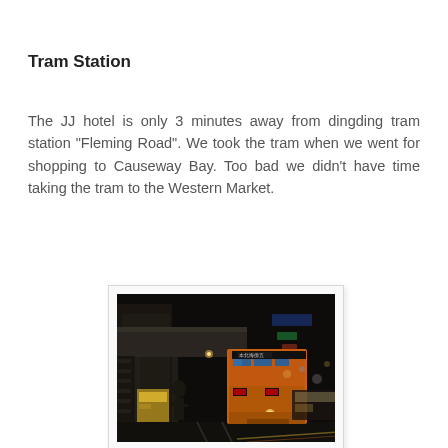Tram Station
The JJ hotel is only 3 minutes away from dingding tram station "Fleming Road". We took the tram when we went for shopping to Causeway Bay. Too bad we didn't have time taking the tram to the Western Market.
[Figure (photo): Night photograph of a Hong Kong street showing a double-decker tram (ding ding) with orange livery on the left side of the frame, a pedestrian walking on the pavement, neon-lit shops in the background, taken from Fleming Road area.]